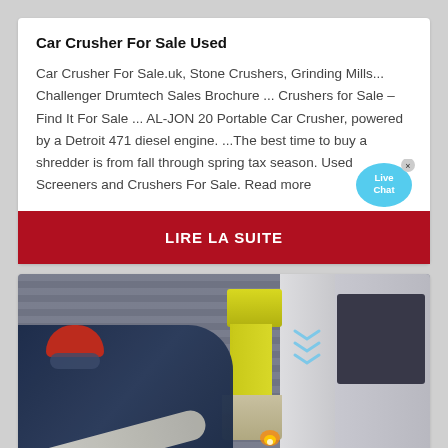Car Crusher For Sale Used
Car Crusher For Sale.uk, Stone Crushers, Grinding Mills... Challenger Drumtech Sales Brochure ... Crushers for Sale – Find It For Sale ... AL-JON 20 Portable Car Crusher, powered by a Detroit 471 diesel engine. ...The best time to buy a shredder is from fall through spring tax season. Used Screeners and Crushers For Sale. Read more
[Figure (screenshot): Red button with white bold text 'LIRE LA SUITE' and a light blue speech bubble with 'Live Chat' text and an X close button]
[Figure (photo): Worker in red hard hat and blue workwear operating machinery, with a yellow/green laser cutting machine and gray industrial equipment in front of a corrugated metal roller door. Sparks visible from cutting process.]